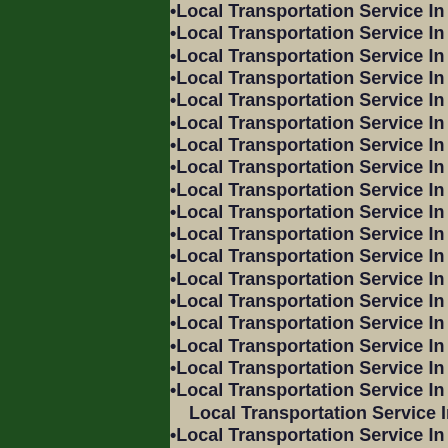•Local Transportation Service In Surfs
•Local Transportation Service In Surfs
•Local Transportation Service In Surfs
•Local Transportation Service In Surfs
•Local Transportation Service In Surfs
•Local Transportation Service In Surfs
•Local Transportation Service In Surfs
•Local Transportation Service In Surfs
•Local Transportation Service In Surfs
•Local Transportation Service In Surfs
•Local Transportation Service In Surfs
•Local Transportation Service In Surfs
•Local Transportation Service In Surfs
•Local Transportation Service In Surfs
•Local Transportation Service In Surfs
•Local Transportation Service In Surfs
•Local Transportation Service In Surfs
•Local Transportation Service In Surfs
Local Transportation Service In Surfs
•Local Transportation Service In Surfs
•Local Transportation Service In Surfs
•Local Transportation Service In Surfs
•Local Transportation Service In Surfs
•Local Transportation Service In Surfs
•Local Transportation Service In Surfs